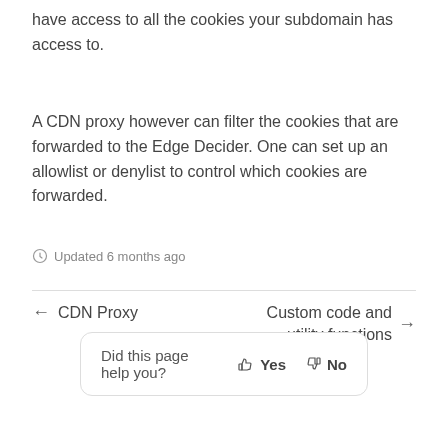have access to all the cookies your subdomain has access to.
A CDN proxy however can filter the cookies that are forwarded to the Edge Decider. One can set up an allowlist or denylist to control which cookies are forwarded.
Updated 6 months ago
← CDN Proxy
Custom code and utility functions →
Did this page help you? 👍 Yes 👎 No